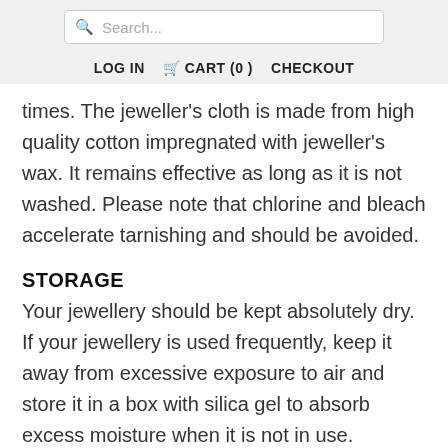Search...  LOG IN  CART (0)  CHECKOUT
times. The jeweller's cloth is made from high quality cotton impregnated with jeweller's wax. It remains effective as long as it is not washed. Please note that chlorine and bleach accelerate tarnishing and should be avoided.
STORAGE
Your jewellery should be kept absolutely dry. If your jewellery is used frequently, keep it away from excessive exposure to air and store it in a box with silica gel to absorb excess moisture when it is not in use.